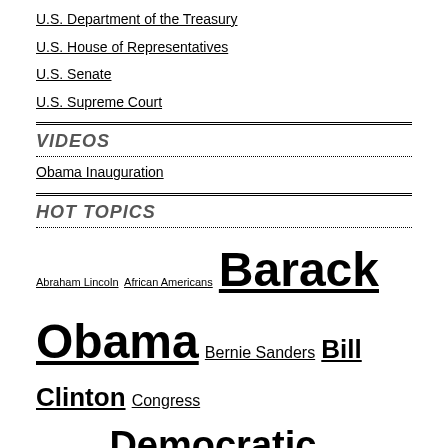U.S. Department of the Treasury
U.S. House of Representatives
U.S. Senate
U.S. Supreme Court
VIDEOS
Obama Inauguration
HOT TOPICS
Abraham Lincoln  African Americans  Barack Obama  Bernie Sanders  Bill Clinton  Congress  conservatives  Democratic Party  Donald Trump  Patrick B. Flanagan  Florida